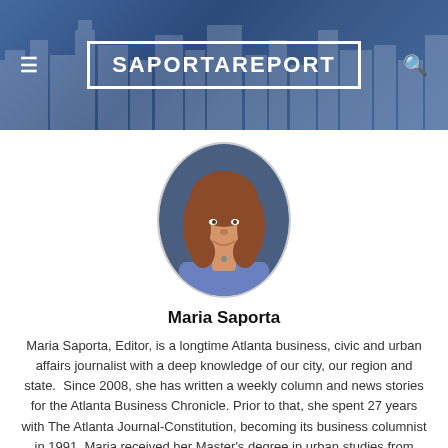SaportaReport
[Figure (photo): Circular portrait photo of Maria Saporta, a woman with long wavy auburn hair wearing a blue sleeveless top]
Maria Saporta
Maria Saporta, Editor, is a longtime Atlanta business, civic and urban affairs journalist with a deep knowledge of our city, our region and state. Since 2008, she has written a weekly column and news stories for the Atlanta Business Chronicle. Prior to that, she spent 27 years with The Atlanta Journal-Constitution, becoming its business columnist in 1991. Maria received her Master's degree in urban studies from Georgia State and her Bachelor's degree in journalism from Boston University. Maria was born in Atlanta to European parents and has two